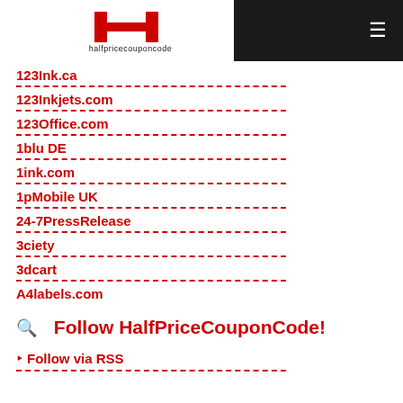halfpricecouponcode
123Ink.ca
123Inkjets.com
123Office.com
1blu DE
1ink.com
1pMobile UK
24-7PressRelease
3ciety
3dcart
A4labels.com
Follow HalfPriceCouponCode!
Follow via RSS